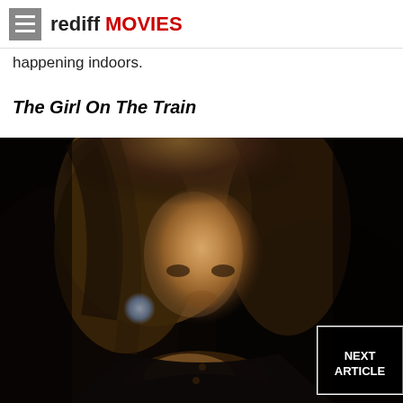rediff MOVIES
happening indoors.
The Girl On The Train
[Figure (photo): A woman with brown wavy hair looking distressed, resting her hand near her mouth, dark moody background. A 'NEXT ARTICLE' overlay box appears in the bottom right corner.]